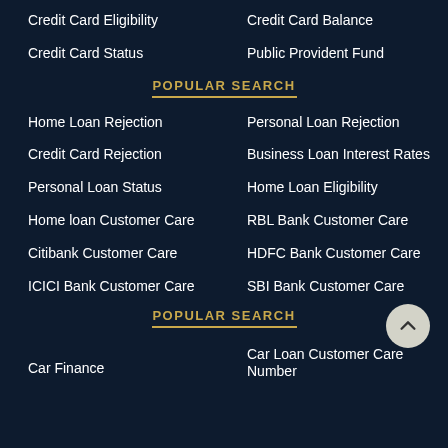Credit Card Eligibility
Credit Card Balance
Credit Card Status
Public Provident Fund
POPULAR SEARCH
Home Loan Rejection
Personal Loan Rejection
Credit Card Rejection
Business Loan Interest Rates
Personal Loan Status
Home Loan Eligibility
Home loan Customer Care
RBL Bank Customer Care
Citibank Customer Care
HDFC Bank Customer Care
ICICI Bank Customer Care
SBI Bank Customer Care
POPULAR SEARCH
Car Finance
Car Loan Customer Care Number